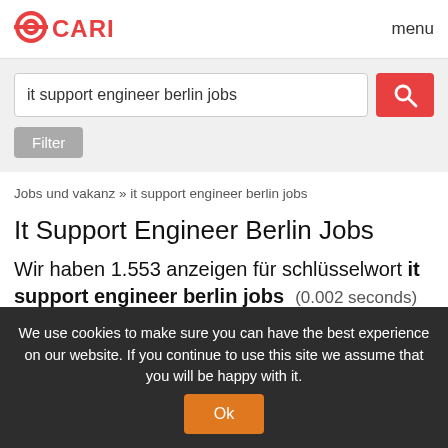CARI  menu
it support engineer berlin jobs
Filter
Jobs und vakanz » it support engineer berlin jobs
It Support Engineer Berlin Jobs
Wir haben 1.553 anzeigen für schlüsselwort it support engineer berlin jobs (0.002 seconds)
Sortierung  Datum (neueste)
We use cookies to make sure you can have the best experience on our website. If you continue to use this site we assume that you will be happy with it. Ok